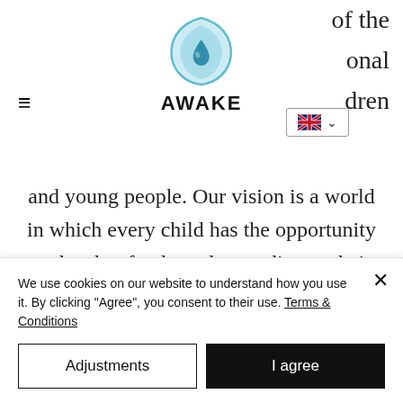[Figure (logo): AWAKE organization logo: a teardrop/gem shape in blue tones with a water droplet inside, above the text AWAKE in bold black capitals]
of the onal dren and young people. Our vision is a world in which every child has the opportunity to develop freely and according to their individual talents. It is said that a team is only ever as strong as its weakest member - thus we need to strengthen
We use cookies on our website to understand how you use it. By clicking "Agree", you consent to their use. Terms & Conditions
Adjustments
I agree